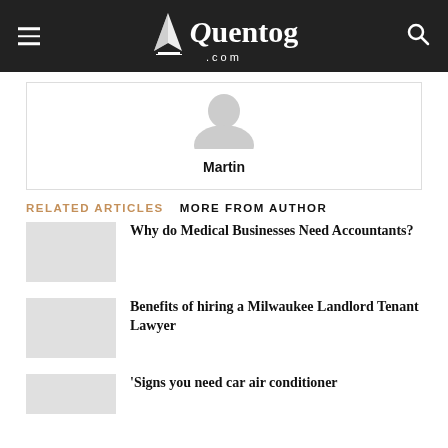Quentog.com
[Figure (illustration): Generic user avatar silhouette in gray]
Martin
RELATED ARTICLES  MORE FROM AUTHOR
Why do Medical Businesses Need Accountants?
Benefits of hiring a Milwaukee Landlord Tenant Lawyer
'Signs you need car air conditioner